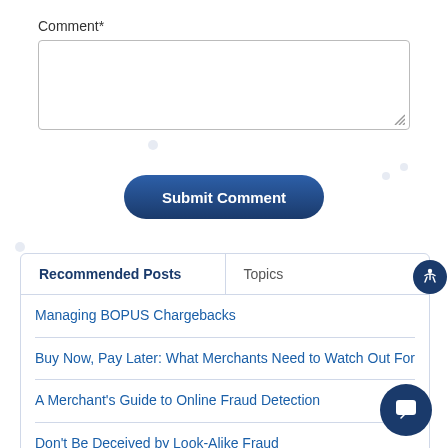Comment*
[Figure (screenshot): Comment text area input field with resize handle]
Submit Comment
Recommended Posts
Topics
Managing BOPUS Chargebacks
Buy Now, Pay Later: What Merchants Need to Watch Out For
A Merchant's Guide to Online Fraud Detection
Don't Be Deceived by Look-Alike Fraud
Fashion Fraud: The Top 6 Retail Scams